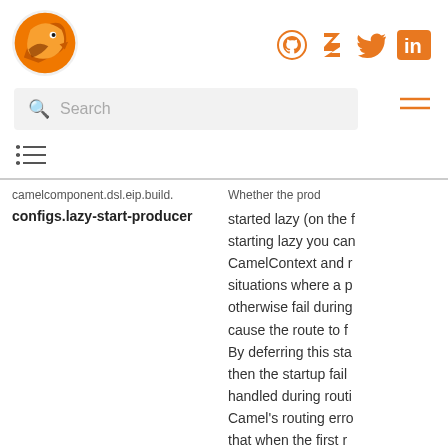[Figure (logo): Apache Camel orange fox/bird logo]
[Figure (other): Social media icons: GitHub, Zulip, Twitter, LinkedIn in orange]
Search
[Figure (other): Hamburger menu icon]
[Figure (other): Table of contents icon]
| Property | Description |
| --- | --- |
| camelcomponent... | Whether the prod... |
| configs.lazy-start-producer | started lazy (on the starting lazy you can CamelContext and r situations where a p otherwise fail during cause the route to f By deferring this sta then the startup fail handled during routi Camel's routing erro that when the first r processed then pro |